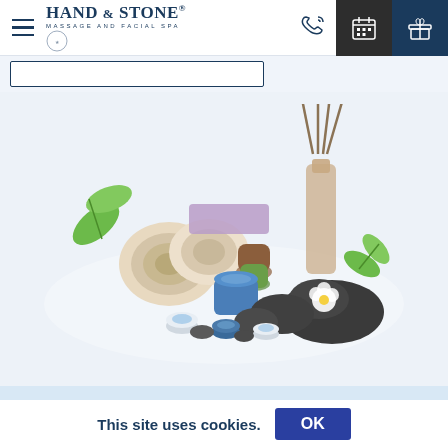Hand & Stone Massage and Facial Spa — navigation bar with hamburger menu, logo, phone icon, calendar icon, gift icon
[Figure (illustration): Spa items illustration: rolled towels in beige and lavender, green leaves, hot stones, candles, a blue container, small tea light candles, a glass diffuser bottle with reed sticks, and a flower, all arranged on a light blue-grey background.]
Ready To Book an
This site uses cookies.